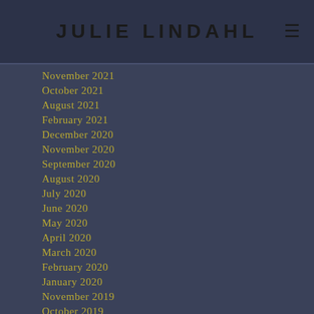JULIE LINDAHL
November 2021
October 2021
August 2021
February 2021
December 2020
November 2020
September 2020
August 2020
July 2020
June 2020
May 2020
April 2020
March 2020
February 2020
January 2020
November 2019
October 2019